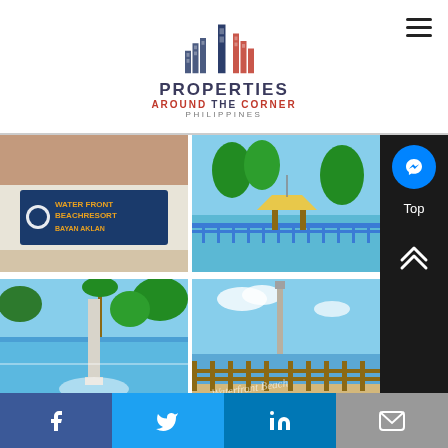[Figure (logo): Properties Around The Corner Philippines logo with stylized building skyline icon in navy and red, with text below]
[Figure (photo): Waterfront Beach Resort Bayan Aklan sign with white concrete wall and brick]
[Figure (photo): Beach resort area with blue fence, palm trees, pavilion structures]
[Figure (photo): Resort pool area with water feature/fountain, palm trees in background]
[Figure (photo): Beach shoreline with wooden picket fence, ocean view, Waterfront Beach watermark]
[Figure (photo): Palm trees against blue sky]
[Figure (photo): Outdoor seating area with wooden furniture and greenery]
[Figure (infographic): Social sharing bar with Facebook, Twitter, LinkedIn, and Email buttons]